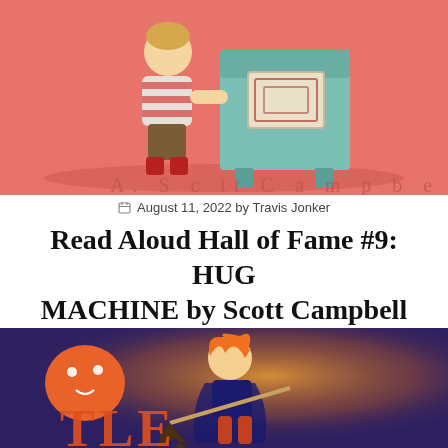[Figure (illustration): Book cover illustration showing a child in a red striped shirt and brown pants hugging a large teal/green mailbox-like machine. The background is salmon/coral pink. Partial author name text visible at bottom of image.]
August 11, 2022 by Travis Jonker
Read Aloud Hall of Fame #9: HUG MACHINE by Scott Campbell
A read aloud that has never let me down.
[Figure (illustration): Bottom portion of another book cover showing a ghost-like orange creature and a character with flame-like orange hair riding what appears to be a broomstick or similar object. Dark purple/blue background with warm orange glow. Partial title letters visible at the bottom.]